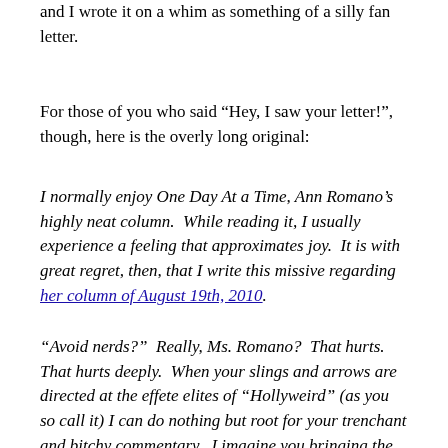and I wrote it on a whim as something of a silly fan letter.
For those of you who said “Hey, I saw your letter!”, though, here is the overly long original:
I normally enjoy One Day At a Time, Ann Romano’s highly neat column.  While reading it, I usually experience a feeling that approximates joy.  It is with great regret, then, that I write this missive regarding her column of August 19th, 2010.
“Avoid nerds?”  Really, Ms. Romano?  That hurts.  That hurts deeply.  When your slings and arrows are directed at the effete elites of “Hollyweird” (as you so call it) I can do nothing but root for your trenchant and bitchy commentary.  I imagine you bringing the